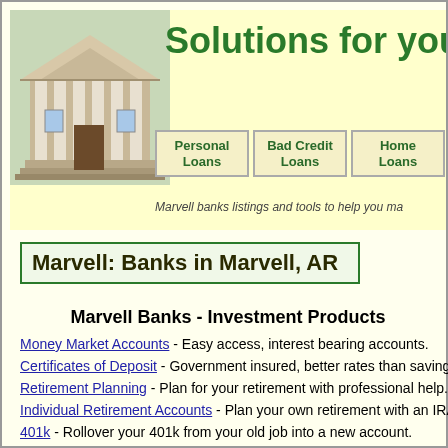[Figure (illustration): Bank building with columns (neoclassical architecture) header banner with green text 'Solutions for your' and navigation buttons for Personal Loans, Bad Credit Loans, Home Loans]
Marvell banks listings and tools to help you ma
Marvell: Banks in Marvell, AR
Marvell Banks - Investment Products
Money Market Accounts - Easy access, interest bearing accounts.
Certificates of Deposit - Government insured, better rates than savings
Retirement Planning - Plan for your retirement with professional help.
Individual Retirement Accounts - Plan your own retirement with an IRA.
401k - Rollover your 401k from your old job into a new account.
Annuities - Steady stream of income for retirement years.